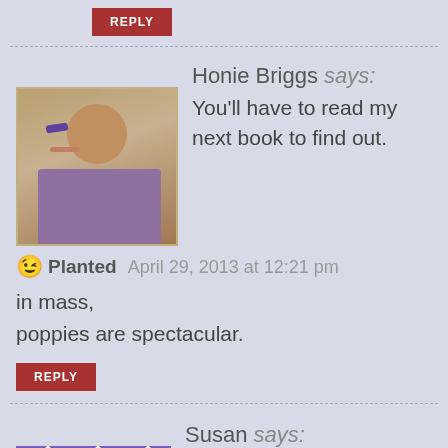REPLY
Honie Briggs says: You'll have to read my next book to find out.
😉 Planted  April 29, 2013 at 12:21 pm
in mass, poppies are spectacular.
REPLY
Susan says:
April 24, 2013 at 4:08 pm
Wow. This piece is